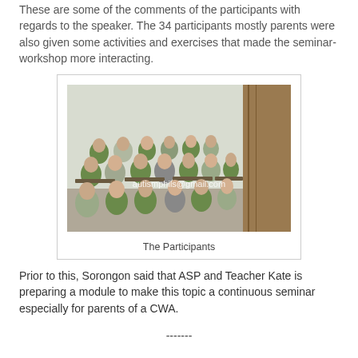These are some of the comments of the participants with regards to the speaker. The 34 participants mostly parents were also given some activities and exercises that made the seminar-workshop more interacting.
[Figure (photo): Photo of seminar participants seated at desks in a classroom setting, with watermark text 'autismphils@gmail.com']
The Participants
Prior to this, Sorongon said that ASP and Teacher Kate is preparing a module to make this topic a continuous seminar especially for parents of a CWA.
-------